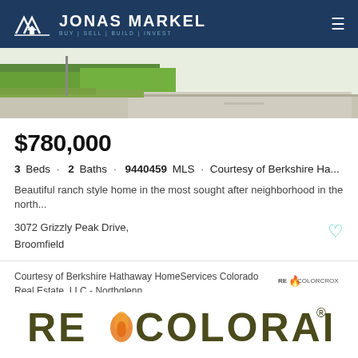JONAS MARKEL BUY | SELL | BUILD | INVEST
[Figure (photo): Aerial or street-level photo of a property with green lawn and road]
$780,000
3 Beds · 2 Baths · 9440459 MLS · Courtesy of Berkshire Ha...
Beautiful ranch style home in the most sought after neighborhood in the north...
3072 Grizzly Peak Drive, Broomfield
Courtesy of Berkshire Hathaway HomeServices Colorado Real Estate, LLC - Northglenn
[Figure (logo): RE Colorado logo at the bottom of the page]